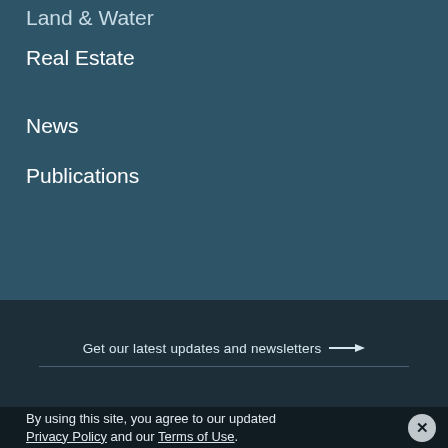Land & Water
Real Estate
News
Publications
Get our latest updates and newsletters →
By using this site, you agree to our updated Privacy Policy and our Terms of Use.